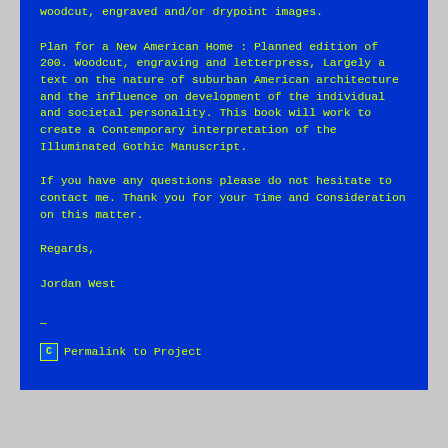woodcut, engraved and/or drypoint images.
Plan for a New American Home : Planned edition of 200. Woodcut, engraving and letterpress, Largely a text on the nature of suburban American architecture and the influence on development of the individual and societal personality. This book will work to create a Contemporary interpretation of the Illuminated Gothic Manuscript.
If you have any questions please do not hesitate to contact me. Thank you for your Time and Consideration on this matter.
Regards,
Jordan West
—
Permalink to Project